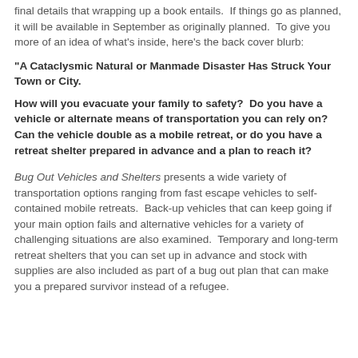final details that wrapping up a book entails.  If things go as planned, it will be available in September as originally planned.  To give you more of an idea of what's inside, here's the back cover blurb:
"A Cataclysmic Natural or Manmade Disaster Has Struck Your Town or City.
How will you evacuate your family to safety?  Do you have a vehicle or alternate means of transportation you can rely on?  Can the vehicle double as a mobile retreat, or do you have a retreat shelter prepared in advance and a plan to reach it?
Bug Out Vehicles and Shelters presents a wide variety of transportation options ranging from fast escape vehicles to self-contained mobile retreats.  Back-up vehicles that can keep going if your main option fails and alternative vehicles for a variety of challenging situations are also examined.  Temporary and long-term retreat shelters that you can set up in advance and stock with supplies are also included as part of a bug out plan that can make you a prepared survivor instead of a refugee.